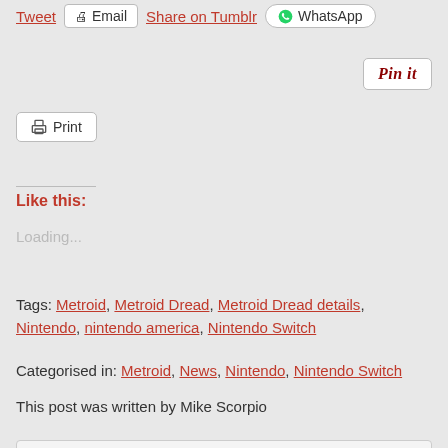Tweet | Email | Share on Tumblr | WhatsApp
Pin it
🖨 Print
Like this:
Loading...
Tags: Metroid, Metroid Dread, Metroid Dread details, Nintendo, nintendo america, Nintendo Switch
Categorised in: Metroid, News, Nintendo, Nintendo Switch
This post was written by Mike Scorpio
Privacy & Cookies: This site uses cookies. By continuing to use this website, you agree to their use. To find out more, including how to control cookies, see here: Cookie Policy